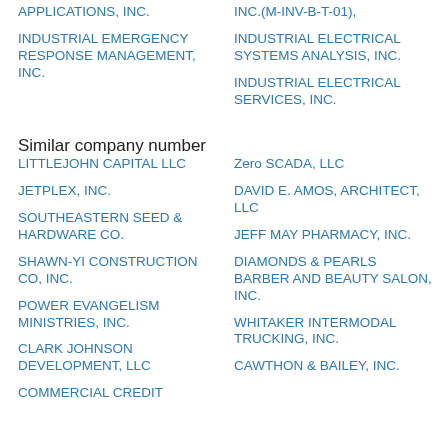APPLICATIONS, INC.
INC.(M-INV-B-T-01),
INDUSTRIAL EMERGENCY RESPONSE MANAGEMENT, INC.
INDUSTRIAL ELECTRICAL SYSTEMS ANALYSIS, INC.
INDUSTRIAL ELECTRICAL SERVICES, INC.
Similar company number
LITTLEJOHN CAPITAL LLC
Zero SCADA, LLC
JETPLEX, INC.
DAVID E. AMOS, ARCHITECT, LLC
SOUTHEASTERN SEED & HARDWARE CO.
JEFF MAY PHARMACY, INC.
SHAWN-YI CONSTRUCTION CO, INC.
DIAMONDS & PEARLS BARBER AND BEAUTY SALON, INC.
POWER EVANGELISM MINISTRIES, INC.
WHITAKER INTERMODAL TRUCKING, INC.
CLARK JOHNSON DEVELOPMENT, LLC
CAWTHON & BAILEY, INC.
COMMERCIAL CREDIT